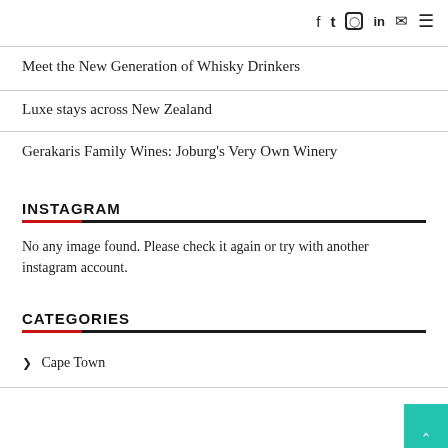f  twitter  instagram  in  email  menu
Meet the New Generation of Whisky Drinkers
Luxe stays across New Zealand
Gerakaris Family Wines: Joburg's Very Own Winery
INSTAGRAM
No any image found. Please check it again or try with another instagram account.
CATEGORIES
> Cape Town